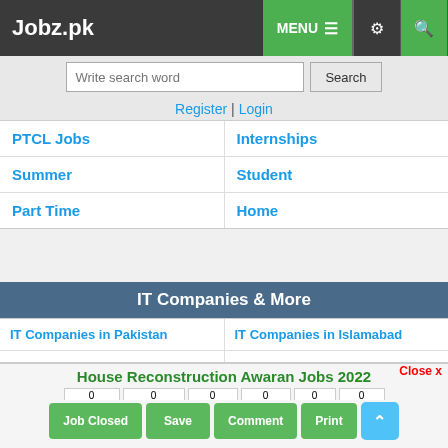Jobz.pk | MENU | Settings | Search
Write search word | Search
Register | Login
PTCL Jobs
Internships
Summer
Student
Part Time
Home
IT Companies & More
IT Companies in Pakistan
IT Companies in Islamabad
IT Companies in Lahore
IT Companies in Karachi
IT Companies in Rawalpindi
IT Companies in Peshaw
House Reconstruction Awaran Jobs 2022
Close x
0 Share | 0 WhatsApp | 0 Tweet | 0 Share | 0 Pin | 0 Email | 0 Recommend
Job Closed | Save | Comment | Print